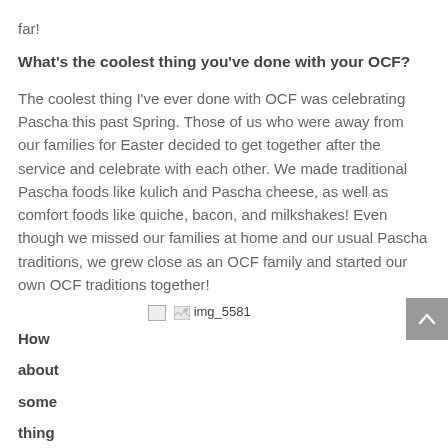far!
What's the coolest thing you've done with your OCF?
The coolest thing I've ever done with OCF was celebrating Pascha this past Spring. Those of us who were away from our families for Easter decided to get together after the service and celebrate with each other. We made traditional Pascha foods like kulich and Pascha cheese, as well as comfort foods like quiche, bacon, and milkshakes! Even though we missed our families at home and our usual Pascha traditions, we grew close as an OCF family and started our own OCF traditions together!
[Figure (photo): Broken image placeholder labeled img_5581]
How about some thing